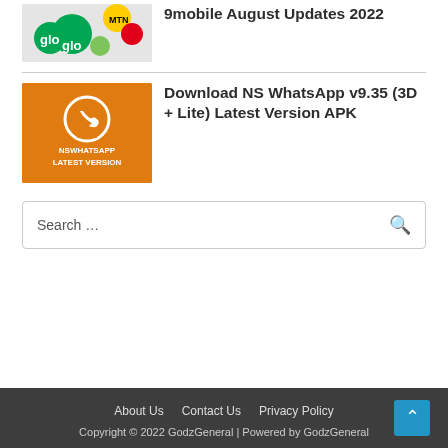[Figure (screenshot): Thumbnail image showing Glo, MTN, Airtel, 9mobile network logos]
9mobile August Updates 2022
[Figure (screenshot): Orange thumbnail with NSWhatsApp Latest Version logo and WhatsApp phone icon]
Download NS WhatsApp v9.35 (3D + Lite) Latest Version APK
Search …
About Us   Contact Us   Privacy Policy
Copyright © 2022 GodzGeneral | Powered by GodzGeneral